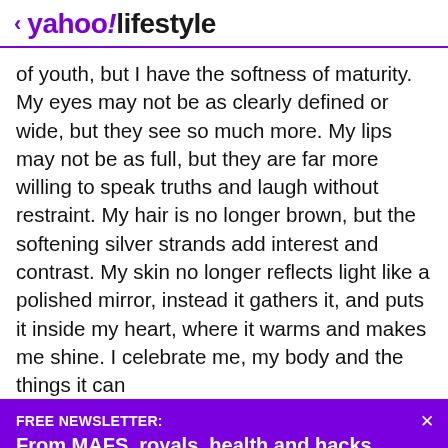< yahoo!lifestyle
of youth, but I have the softness of maturity. My eyes may not be as clearly defined or wide, but they see so much more. My lips may not be as full, but they are far more willing to speak truths and laugh without restraint. My hair is no longer brown, but the softening silver strands add interest and contrast. My skin no longer reflects light like a polished mirror, instead it gathers it, and puts it inside my heart, where it warms and makes me shine. I celebrate me, my body and the things it can
FREE NEWSLETTER:
From MAFS, royals, health and hacks... Sign up here and never miss a thing!
View comments